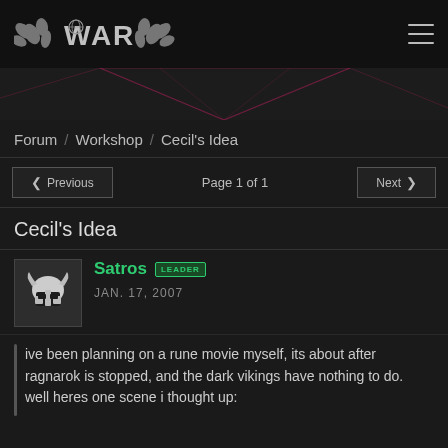WAR — menu icon header
[Figure (illustration): Dark geometric banner with pink/magenta triangle line art on dark background]
Forum / Workshop / Cecil's Idea
< Previous   Page 1 of 1   Next >
Cecil's Idea
Satros LEADER — JAN. 17, 2007
ive been planning on a rune movie myself, its about after ragnarok is stopped, and the dark vikings have nothing to do.
well heres one scene i thought up: